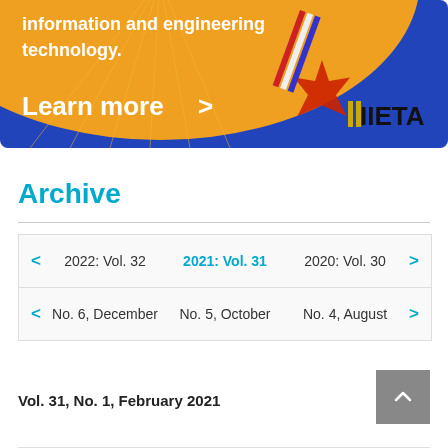[Figure (illustration): IIETA banner advertisement with orange and blue gradient background, maple leaf logo, text 'information and engineering technology.' and 'Learn more >' with IIETA logo]
Archive
| < | 2022: Vol. 32 | 2021: Vol. 31 | 2020: Vol. 30 | > |
| --- | --- | --- | --- | --- |
| < | No. 6, December | No. 5, October | No. 4, August | > |
Vol. 31,  No. 1, February 2021